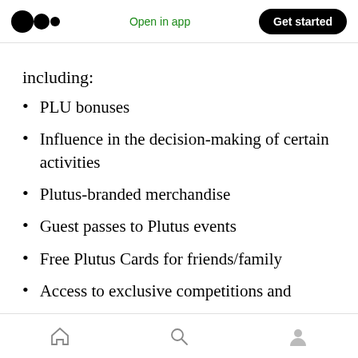Medium logo | Open in app | Get started
including:
PLU bonuses
Influence in the decision-making of certain activities
Plutus-branded merchandise
Guest passes to Plutus events
Free Plutus Cards for friends/family
Access to exclusive competitions and
Home | Search | Profile